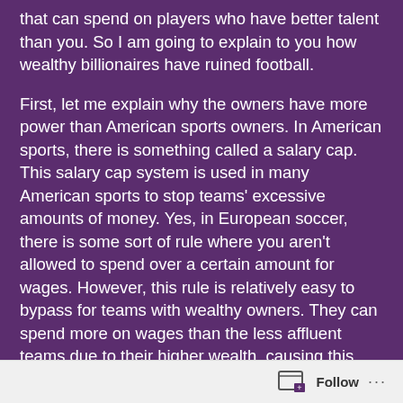that can spend on players who have better talent than you. So I am going to explain to you how wealthy billionaires have ruined football.
First, let me explain why the owners have more power than American sports owners. In American sports, there is something called a salary cap. This salary cap system is used in many American sports to stop teams' excessive amounts of money. Yes, in European soccer, there is some sort of rule where you aren't allowed to spend over a certain amount for wages. However, this rule is relatively easy to bypass for teams with wealthy owners. They can spend more on wages than the less affluent teams due to their higher wealth, causing this separation between teams. This leads to exclusive competition among only a few teams in the league
Follow ···